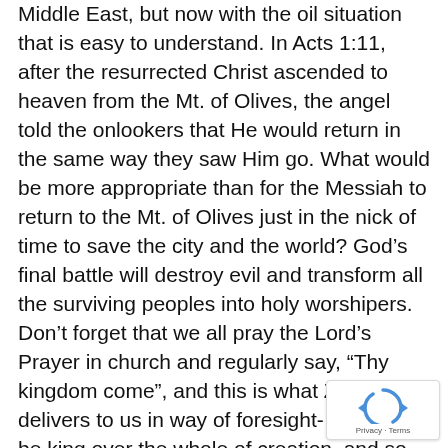Middle East, but now with the oil situation that is easy to understand. In Acts 1:11, after the resurrected Christ ascended to heaven from the Mt. of Olives, the angel told the onlookers that He would return in the same way they saw Him go. What would be more appropriate than for the Messiah to return to the Mt. of Olives just in the nick of time to save the city and the world? God's final battle will destroy evil and transform all the surviving peoples into holy worshipers. Don't forget that we all pray the Lord's Prayer in church and regularly say, “Thy kingdom come”, and this is what Zechariah delivers to us in way of foresight- Jesus will be king over the whole of creation, and so we say “Come Lord Jesus
[Figure (other): Google reCAPTCHA badge in bottom-right corner showing recycling-arrow icon with 'Privacy - Terms' text below]